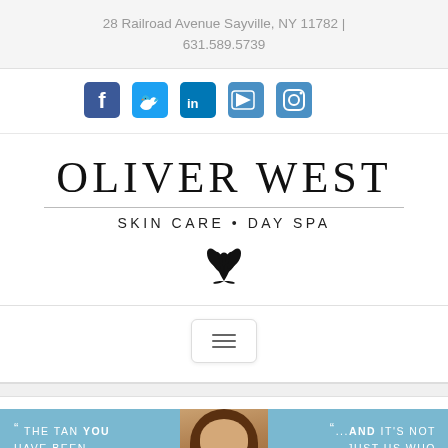28 Railroad Avenue Sayville, NY 11782 | 631.589.5739
[Figure (infographic): Social media icons row: Facebook, Twitter, LinkedIn, YouTube, Instagram — all in blue square icon style]
OLIVER WEST — SKIN CARE • DAY SPA
[Figure (logo): Oliver West Skin Care Day Spa logo with decorative lotus/flower emblem]
[Figure (other): Hamburger menu button (three horizontal lines) in a rounded rectangle]
[Figure (infographic): Promotional banner in light blue with text: '"THE TAN YOU HAVE BEEN WAITING FOR..."' on left and '"...AND IT'S NOT JUST US WHO THINK SO..."' on right, with a woman's photo in the center]